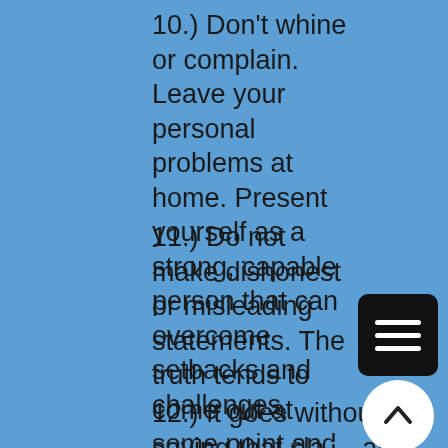10.) Don't whine or complain. Leave your personal problems at home. Present yourself as a strong, capable person that can overcome setbacks and challenges.
11.) Do not make dishonest or misleading statements. The truth tends to come out at some point and the old adage "Honesty is the best policy" applies here.
12.) It goes without saying that slang and expletives should not be used. Derogatory remarks about a particular gender, race or nationality are out of line.